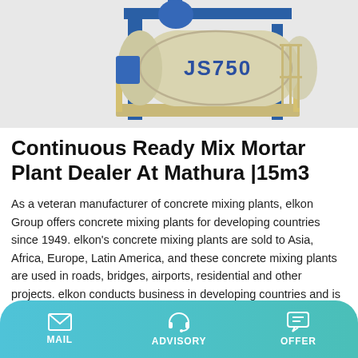[Figure (photo): A JS750 concrete mixing plant / continuous ready mix mortar plant machine, beige/cream colored drum with blue frame, shown on a light gray background]
Continuous Ready Mix Mortar Plant Dealer At Mathura |15m3
As a veteran manufacturer of concrete mixing plants, elkon Group offers concrete mixing plants for developing countries since 1949. elkon's concrete mixing plants are sold to Asia, Africa, Europe, Latin America, and these concrete mixing plants are used in roads, bridges, airports, residential and other projects. elkon conducts business in developing countries and is committed to helping users
Learn More
MAIL   ADVISORY   OFFER